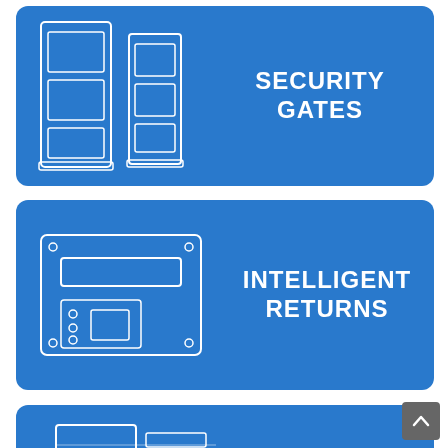[Figure (illustration): Blue card with a white line drawing of two security gate panels and bold white text reading SECURITY GATES]
[Figure (illustration): Blue card with a white line drawing of an intelligent returns device (book drop machine) and bold white text reading INTELLIGENT RETURNS]
[Figure (illustration): Blue card partially visible at the bottom with a white line drawing of another device]